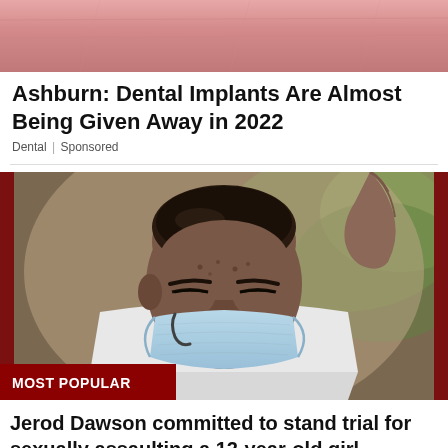[Figure (photo): Pinkish/reddish skin texture close-up photo (dental ad image)]
Ashburn: Dental Implants Are Almost Being Given Away in 2022
Dental | Sponsored
[Figure (photo): Man wearing a surgical/medical mask with head bowed, wearing a white shirt, dark red vertical borders on sides of image, 'MOST POPULAR' red badge at bottom left]
Jerod Dawson committed to stand trial for sexually assaulting a 12-year-old girl - challenges the